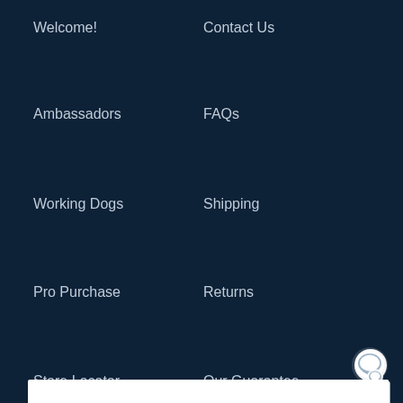Welcome!
Contact Us
Ambassadors
FAQs
Working Dogs
Shipping
Pro Purchase
Returns
Store Locator
Our Guarantee
ness Recall
This website stores data such as cookies to enable essential site functionality, as well as marketing, personalization, and analytics. By remaining on this website you indicate your consent.
Privacy Policy
Login